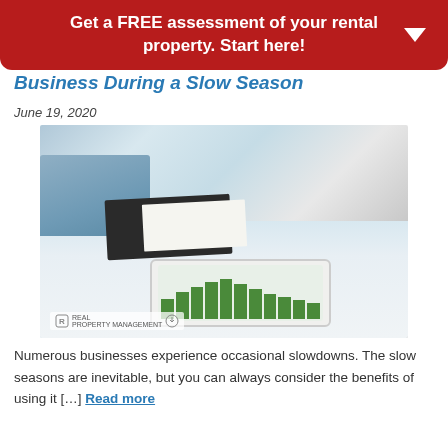Get a FREE assessment of your rental property. Start here!
Business During a Slow Season
June 19, 2020
[Figure (photo): Woman at desk writing in notebook with stylus while touching a tablet displaying a green bar chart; laptop visible on the left]
Numerous businesses experience occasional slowdowns. The slow seasons are inevitable, but you can always consider the benefits of using it [...] Read more